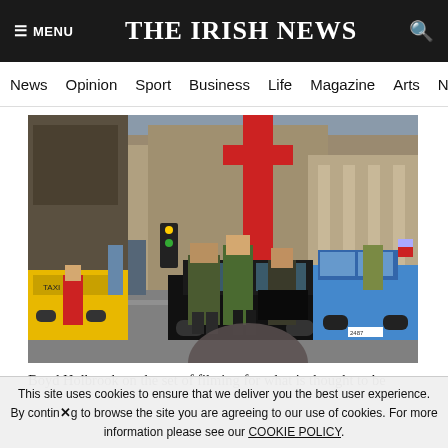≡ MENU   THE IRISH NEWS   🔍
News  Opinion  Sport  Business  Life  Magazine  Arts
[Figure (photo): Boyd Holbrook on the set of a film shoot on a city street with vintage taxis, classic cars including a blue car and yellow taxis, and a man in military-style jacket walking between vehicles. Film crew equipment visible in background including a red crane/lift. Street scene dressed as period city.]
Boyd Holbrook on the set of filming for what is thought to be
This site uses cookies to ensure that we deliver you the best user experience. By continuing to browse the site you are agreeing to our use of cookies. For more information please see our COOKIE POLICY.